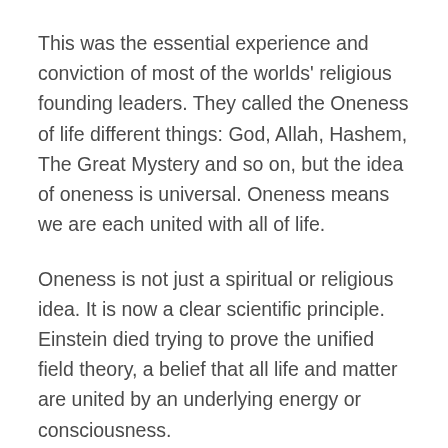This was the essential experience and conviction of most of the worlds' religious founding leaders. They called the Oneness of life different things: God, Allah, Hashem, The Great Mystery and so on, but the idea of oneness is universal. Oneness means we are each united with all of life.
Oneness is not just a spiritual or religious idea. It is now a clear scientific principle. Einstein died trying to prove the unified field theory, a belief that all life and matter are united by an underlying energy or consciousness.
The great quantum physicists David Bohm, Arthur Eddington, Max Planck and many others were convinced that at the very deepest (smallest) level of